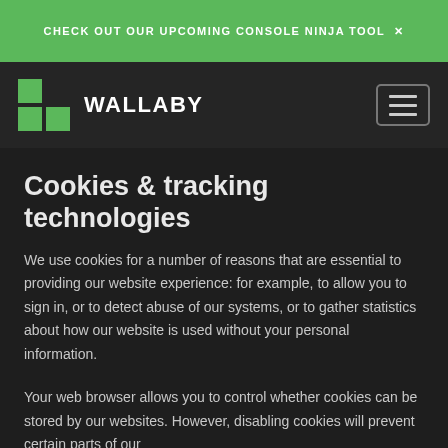CHECK OUT OUR UPCOMING CONSOLE NINJA TOOL ✕
[Figure (logo): Wallaby logo: green squares forming a bracket shape, with WALLABY text and hamburger menu button]
Cookies & tracking technologies
We use cookies for a number of reasons that are essential to providing our website experience: for example, to allow you to sign in, or to detect abuse of our systems, or to gather statistics about how our website is used without your personal information.
Your web browser allows you to control whether cookies can be stored by our websites. However, disabling cookies will prevent certain parts of our